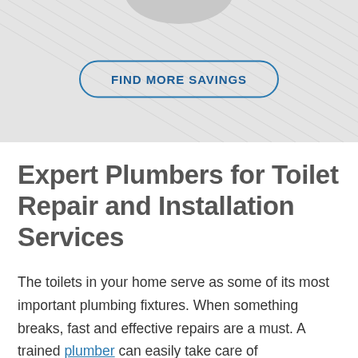[Figure (other): Decorative background section with diagonal grey lines pattern and a circular shape at the top center, containing a 'FIND MORE SAVINGS' button with blue border and text]
Expert Plumbers for Toilet Repair and Installation Services
The toilets in your home serve as some of its most important plumbing fixtures. When something breaks, fast and effective repairs are a must. A trained plumber can easily take care of